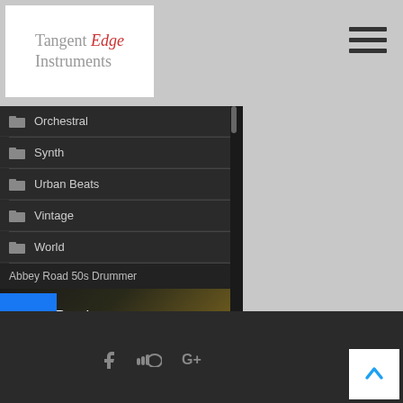Tangent Edge Instruments
[Figure (screenshot): Plugin browser showing folder list: Orchestral, Synth, Urban Beats, Vintage, World. Below is Abbey Road 50s Drummer product banner.]
[Figure (infographic): Dark rounded button with wifi/signal icon and text 'Stay Informed!']
[Figure (infographic): Social media buttons on left: Facebook (blue), Twitter (blue), Plus (blue). Footer bar with Facebook, SoundCloud, Google+ icons and back-to-top arrow button.]